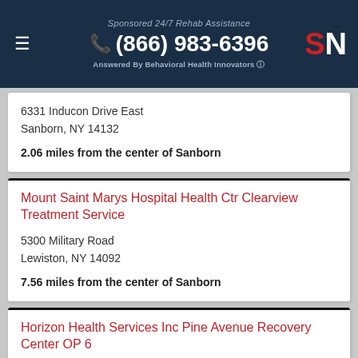Sponsored 24/7 Rehab Assistance (866) 983-6396 Answered By Behavioral Health Innovators
6331 Inducon Drive East
Sanborn, NY 14132
2.06 miles from the center of Sanborn
Mount Saint Marys Hospital Health Ctr Clearview Treatment Service
5300 Military Road
Lewiston, NY 14092
7.56 miles from the center of Sanborn
Horizon Health Services Inc Pine Avenue Recovery Center OP 6